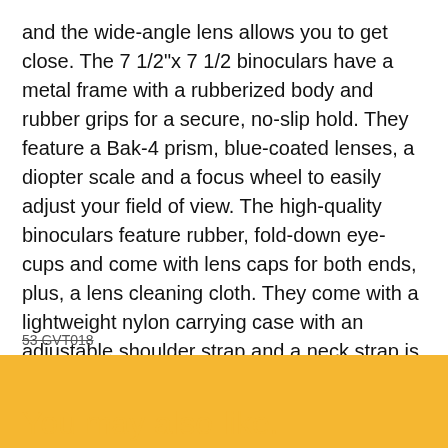and the wide-angle lens allows you to get close. The 7 1/2"x 7 1/2 binoculars have a metal frame with a rubberized body and rubber grips for a secure, no-slip hold. They feature a Bak-4 prism, blue-coated lenses, a diopter scale and a focus wheel to easily adjust your field of view. The high-quality binoculars feature rubber, fold-down eye-cups and come with lens caps for both ends, plus, a lens cleaning cloth. They come with a lightweight nylon carrying case with an adjustable shoulder strap and a neck strap is also included.
53 GVT018
You may also like.